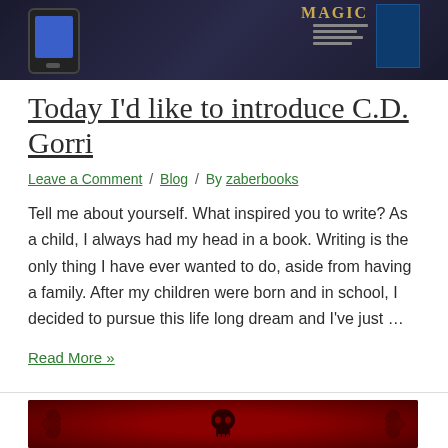[Figure (photo): Top banner image showing a smartphone and a book cover against a dark background, with text 'MAGIC' visible]
Today I'd like to introduce C.D. Gorri
Leave a Comment / Blog / By zaberbooks
Tell me about yourself. What inspired you to write? As a child, I always had my head in a book. Writing is the only thing I have ever wanted to do, aside from having a family. After my children were born and in school, I decided to pursue this life long dream and I've just …
Read More »
[Figure (photo): Bottom image showing a dark red background with ornate floral patterns and a skull design]